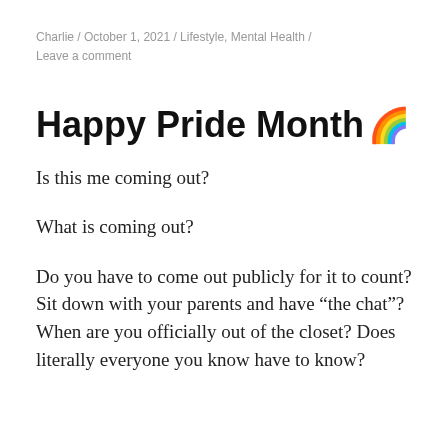Charlie / October 1, 2021 / Lifestyle, Mental Health / Leave a comment
Happy Pride Month 🌈
Is this me coming out?
What is coming out?
Do you have to come out publicly for it to count? Sit down with your parents and have “the chat”? When are you officially out of the closet? Does literally everyone you know have to know?